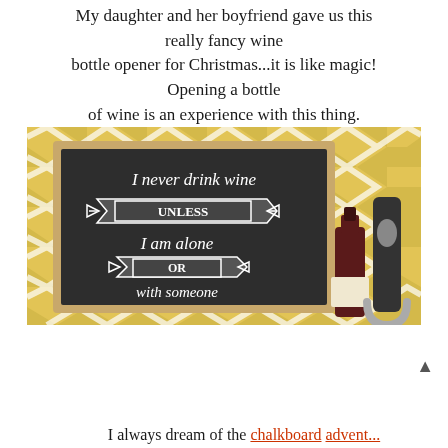My daughter and her boyfriend gave us this really fancy wine bottle opener for Christmas...it is like magic! Opening a bottle of wine is an experience with this thing.
[Figure (photo): A chalkboard sign with yellow chevron wallpaper background reading 'I never drink wine UNLESS I am alone OR with someone', next to a wine bottle and a wine opener device.]
I always dream of the chalkboard advent...